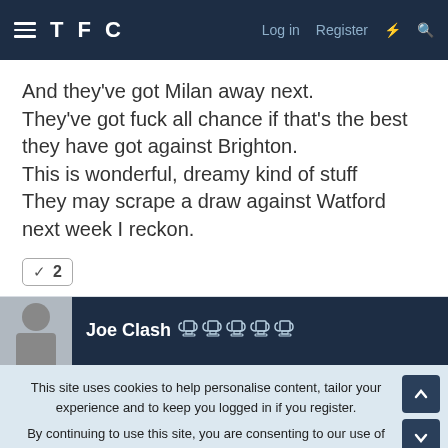TFC  Log in  Register
And they've got Milan away next.
They've got fuck all chance if that's the best they have got against Brighton.
This is wonderful, dreamy kind of stuff
They may scrape a draw against Watford next week I reckon.
✓ 2
Joe Clash 🏆🏆🏆🏆🏆
This site uses cookies to help personalise content, tailor your experience and to keep you logged in if you register.
By continuing to use this site, you are consenting to our use of cookies.